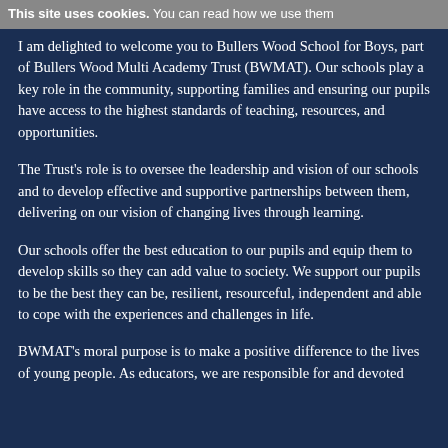This site uses cookies. You can read how we use them
I am delighted to welcome you to Bullers Wood School for Boys, part of Bullers Wood Multi Academy Trust (BWMAT). Our schools play a key role in the community, supporting families and ensuring our pupils have access to the highest standards of teaching, resources, and opportunities.
The Trust’s role is to oversee the leadership and vision of our schools and to develop effective and supportive partnerships between them, delivering on our vision of changing lives through learning.
Our schools offer the best education to our pupils and equip them to develop skills so they can add value to society. We support our pupils to be the best they can be, resilient, resourceful, independent and able to cope with the experiences and challenges in life.
BWMAT’s moral purpose is to make a positive difference to the lives of young people. As educators, we are responsible for and devoted